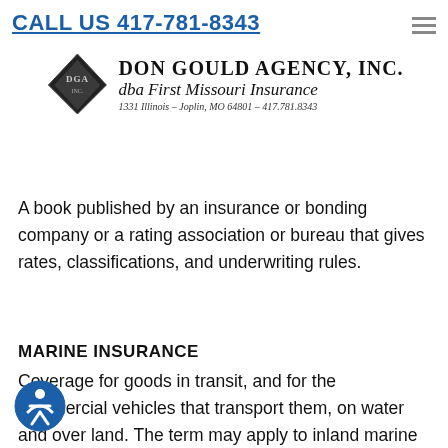CALL US 417-781-8343
[Figure (logo): Don Gould Agency, Inc. logo with diamond DGA emblem, company name, dba First Missouri Insurance, address 1331 Illinois - Joplin, MO 64801 - 417.781.8343]
A book published by an insurance or bonding company or a rating association or bureau that gives rates, classifications, and underwriting rules.
MARINE INSURANCE
Coverage for goods in transit, and for the commercial vehicles that transport them, on water and over land. The term may apply to inland marine but more generally applies to ocean marine insurance. Covers damage or destruction of a ship's hull and cargo and perils
[Figure (illustration): Accessibility icon - blue circle with white person figure]